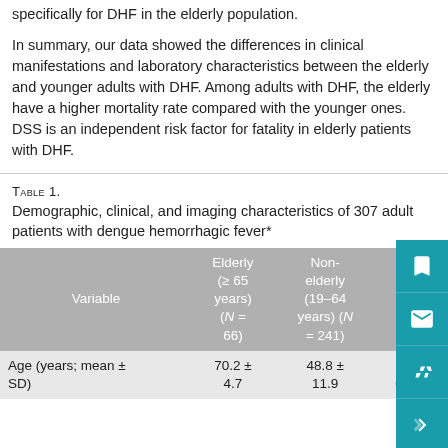specifically for DHF in the elderly population.
In summary, our data showed the differences in clinical manifestations and laboratory characteristics between the elderly and younger adults with DHF. Among adults with DHF, the elderly have a higher mortality rate compared with the younger ones. DSS is an independent risk factor for fatality in elderly patients with DHF.
TABLE 1.
Demographic, clinical, and imaging characteristics of 307 adult patients with dengue hemorrhagic fever*
| Variable | Elderly (≥ 65 years) (N = 66) | Non-elderly (19–64 years) (N = 241) | P |
| --- | --- | --- | --- |
| Age (years; mean ± SD) | 70.2 ± 4.7 | 48.8 ± 11.9 | < 0.001 |